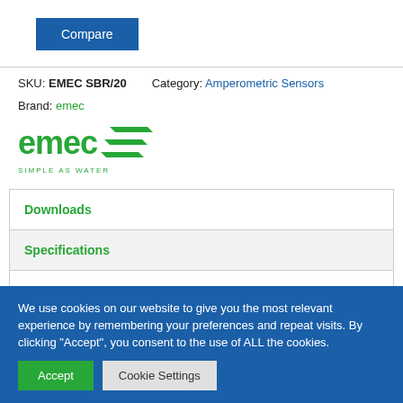Compare
SKU: EMEC SBR/20   Category: Amperometric Sensors
Brand: emec
[Figure (logo): emec SIMPLE AS WATER logo with green text and wave lines]
Downloads
Specifications
We use cookies on our website to give you the most relevant experience by remembering your preferences and repeat visits. By clicking "Accept", you consent to the use of ALL the cookies.
Accept
Cookie Settings